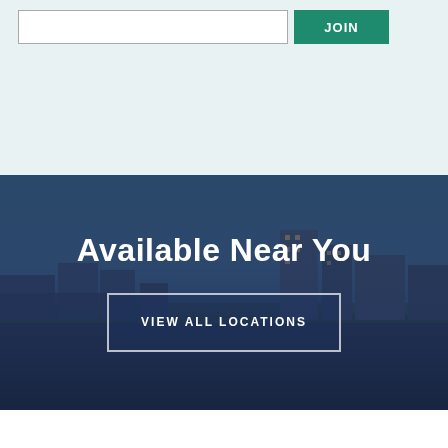[Figure (screenshot): Top section with light teal background containing an empty text input field and a JOIN button in dark green on the right.]
[Figure (photo): Aerial/elevated view of a city at dusk with buildings lit up against a dusky blue sky, overlaid with a dark blue semi-transparent gradient. Contains the heading 'Available Near You' and a 'VIEW ALL LOCATIONS' button.]
Available Near You
VIEW ALL LOCATIONS